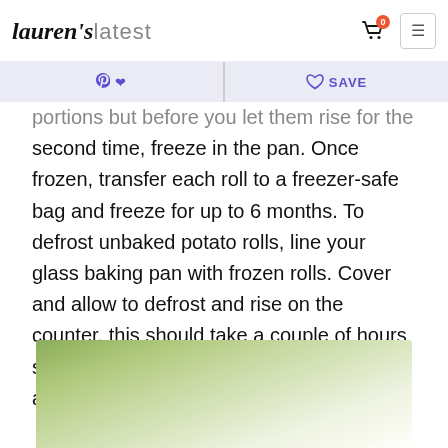lauren's latest
portions but before you let them rise for the second time, freeze in the pan. Once frozen, transfer each roll to a freezer-safe bag and freeze for up to 6 months. To defrost unbaked potato rolls, line your glass baking pan with frozen rolls. Cover and allow to defrost and rise on the counter, this should take a couple of hours so plan ahead! Once double in size, you are ready to bake these babies as normal.
[Figure (photo): Blurred close-up photo with green and white bokeh background, likely showing baked rolls or baking dish with shallow depth of field]